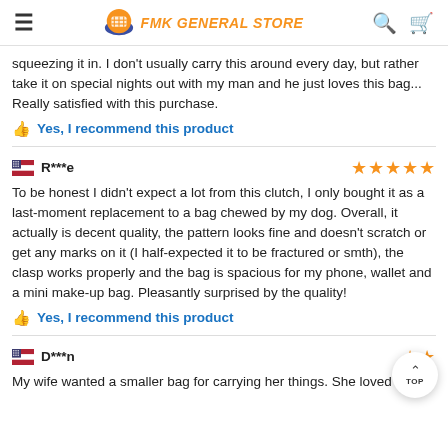FMK GENERAL STORE
squeezing it in. I don't usually carry this around every day, but rather take it on special nights out with my man and he just loves this bag... Really satisfied with this purchase.
Yes, I recommend this product
R***e — 5 stars
To be honest I didn't expect a lot from this clutch, I only bought it as a last-moment replacement to a bag chewed by my dog. Overall, it actually is decent quality, the pattern looks fine and doesn't scratch or get any marks on it (I half-expected it to be fractured or smth), the clasp works properly and the bag is spacious for my phone, wallet and a mini make-up bag. Pleasantly surprised by the quality!
Yes, I recommend this product
D***n — stars
My wife wanted a smaller bag for carrying her things. She loved this